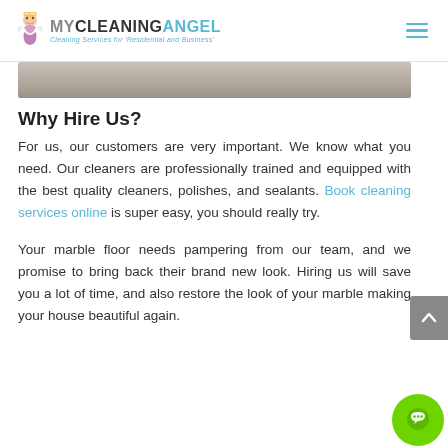MYCLEANINGANGEL - Cleaning Services for Residential and Business
[Figure (photo): Partial view of a marble or stone floor surface, cropped image strip at top of content area]
Why Hire Us?
For us, our customers are very important. We know what you need. Our cleaners are professionally trained and equipped with the best quality cleaners, polishes, and sealants. Book cleaning services online is super easy, you should really try.
Your marble floor needs pampering from our team, and we promise to bring back their brand new look. Hiring us will save you a lot of time, and also restore the look of your marble making your house beautiful again.